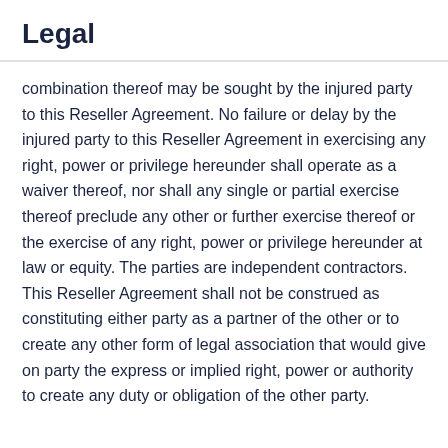Legal
combination thereof may be sought by the injured party to this Reseller Agreement. No failure or delay by the injured party to this Reseller Agreement in exercising any right, power or privilege hereunder shall operate as a waiver thereof, nor shall any single or partial exercise thereof preclude any other or further exercise thereof or the exercise of any right, power or privilege hereunder at law or equity. The parties are independent contractors. This Reseller Agreement shall not be construed as constituting either party as a partner of the other or to create any other form of legal association that would give on party the express or implied right, power or authority to create any duty or obligation of the other party.